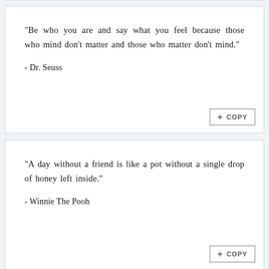"Be who you are and say what you feel because those who mind don't matter and those who matter don't mind."

- Dr. Seuss
"A day without a friend is like a pot without a single drop of honey left inside."

- Winnie The Pooh